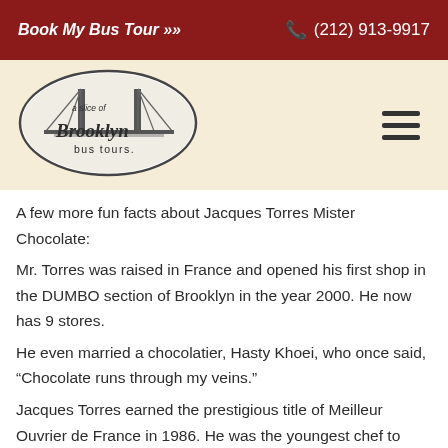Book My Bus Tour >> (212) 913-9917
[Figure (logo): A Slice of Brooklyn Bus Tours oval logo with Brooklyn Bridge illustration]
A few more fun facts about Jacques Torres Mister Chocolate:
Mr. Torres was raised in France and opened his first shop in the DUMBO section of Brooklyn in the year 2000. He now has 9 stores.
He even married a chocolatier, Hasty Khoei, who once said, “Chocolate runs through my veins.”
Jacques Torres earned the prestigious title of Meilleur Ouvrier de France in 1986. He was the youngest chef to earn the distinction.